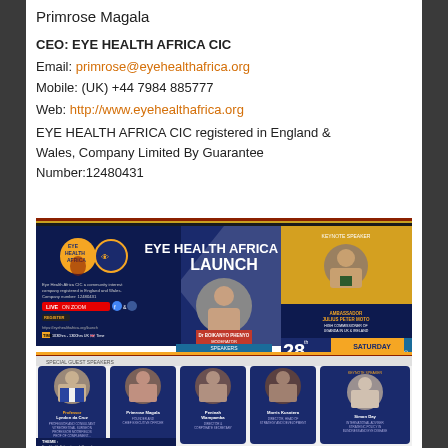Primrose Magala
CEO: EYE HEALTH AFRICA CIC
Email: primrose@eyehealthafrica.org
Mobile: (UK) +44 7984 885777
Web: http://www.eyehealthafrica.org
EYE HEALTH AFRICA CIC registered in England & Wales, Company Limited By Guarantee Number:12480431
[Figure (infographic): Eye Health Africa CIC Launch event flyer showing logos, keynote speaker Ambassador Julius Peter Moto, moderator Dr Boikanyo Phenyo, special guest speakers Professor Lyndon da Cruz, Primrose Magala, Peninah Wampamba, Morris Kusotera, and Simon Day. Event on 28th Saturday November on Zoom and Facebook, theme: Eye Health Education, skills exchange and capacity building.]